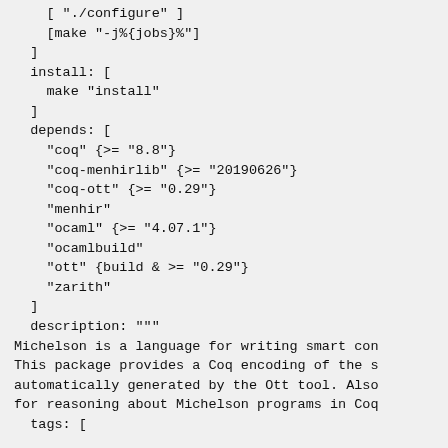[ "./configure" ]
    [make "-j%{jobs}%"]
  ]
  install: [
    make "install"
  ]
  depends: [
    "coq" {>= "8.8"}
    "coq-menhirlib" {>= "20190626"}
    "coq-ott" {>= "0.29"}
    "menhir"
    "ocaml" {>= "4.07.1"}
    "ocamlbuild"
    "ott" {build & >= "0.29"}
    "zarith"
  ]
  description: """
  Michelson is a language for writing smart con
  This package provides a Coq encoding of the s
  automatically generated by the Ott tool. Also
  for reasoning about Michelson programs in Coq
  tags: [